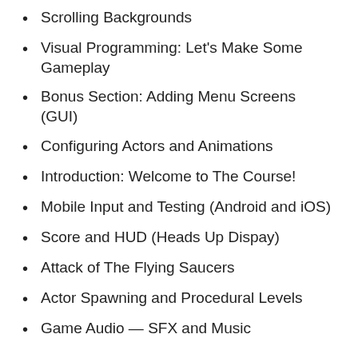Scrolling Backgrounds
Visual Programming: Let’s Make Some Gameplay
Bonus Section: Adding Menu Screens (GUI)
Configuring Actors and Animations
Introduction: Welcome to The Course!
Mobile Input and Testing (Android and iOS)
Score and HUD (Heads Up Dispay)
Attack of The Flying Saucers
Actor Spawning and Procedural Levels
Game Audio — SFX and Music